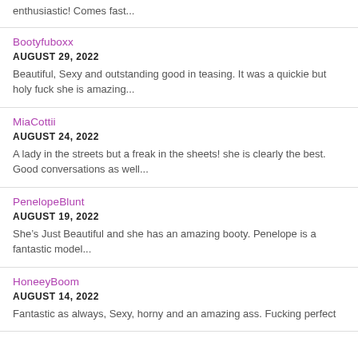enthusiastic! Comes fast...
Bootyfuboxx
AUGUST 29, 2022
Beautiful, Sexy and outstanding good in teasing. It was a quickie but holy fuck she is amazing...
MiaCottii
AUGUST 24, 2022
A lady in the streets but a freak in the sheets! she is clearly the best. Good conversations as well...
PenelopeBlunt
AUGUST 19, 2022
She’s Just Beautiful and she has an amazing booty. Penelope is a fantastic model...
HoneeyBoom
AUGUST 14, 2022
Fantastic as always, Sexy, horny and an amazing ass. Fucking perfect